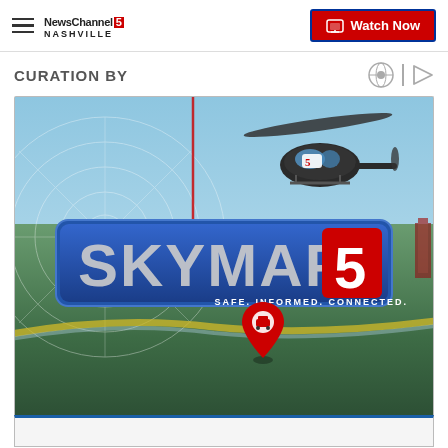NewsChannel 5 Nashville — Watch Now
CURATION BY
[Figure (photo): SKYMAP5 promotional image showing aerial view of Nashville with a helicopter bearing the Channel 5 logo, radar circle overlay, road map lines, a red location pin with a car icon, and the SKYMAP5 logo with tagline SAFE. INFORMED. CONNECTED.]